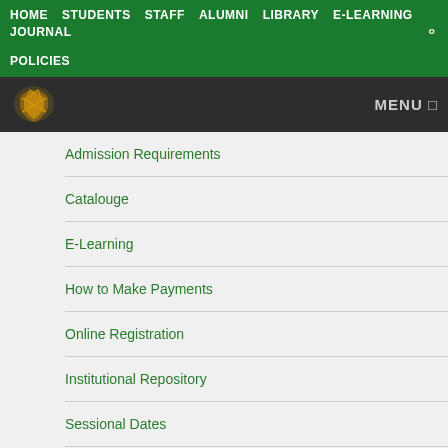HOME  STUDENTS  STAFF  ALUMNI  LIBRARY  E-LEARNING  JOURNAL  POLICIES
Admission Requirements
Catalouge
E-Learning
How to Make Payments
Online Registration
Institutional Repository
Sessional Dates
Contact Us
Study at UNZA